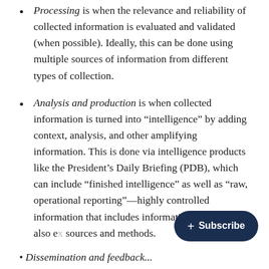Processing is when the relevance and reliability of collected information is evaluated and validated (when possible). Ideally, this can be done using multiple sources of information from different types of collection.
Analysis and production is when collected information is turned into “intelligence” by adding context, analysis, and other amplifying information. This is done via intelligence products like the President’s Daily Briefing (PDB), which can include “finished intelligence” as well as “raw, operational reporting”—highly controlled information that includes information that could also e[xpose] sources and methods.
Dissemination and feedback...